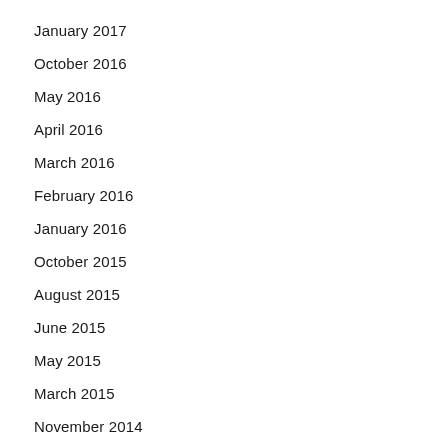January 2017
October 2016
May 2016
April 2016
March 2016
February 2016
January 2016
October 2015
August 2015
June 2015
May 2015
March 2015
November 2014
October 2014
August 2014